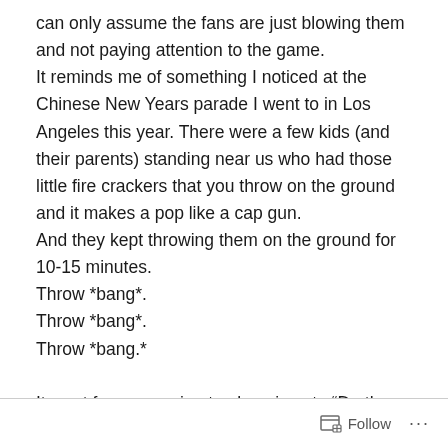can only assume the fans are just blowing them and not paying attention to the game.
It reminds me of something I noticed at the Chinese New Years parade I went to in Los Angeles this year. There were a few kids (and their parents) standing near us who had those little fire crackers that you throw on the ground and it makes a pop like a cap gun.
And they kept throwing them on the ground for 10-15 minutes.
Throw *bang*.
Throw *bang*.
Throw *bang.*

It went from annoying to obnoxious to “Do these brats even have parents?”
Follow ...